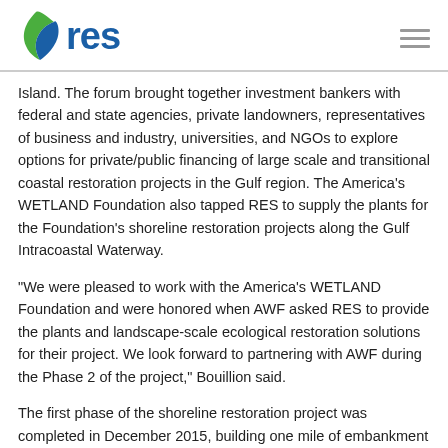res
Island. The forum brought together investment bankers with federal and state agencies, private landowners, representatives of business and industry, universities, and NGOs to explore options for private/public financing of large scale and transitional coastal restoration projects in the Gulf region. The America's WETLAND Foundation also tapped RES to supply the plants for the Foundation's shoreline restoration projects along the Gulf Intracoastal Waterway.
“We were pleased to work with the America’s WETLAND Foundation and were honored when AWF asked RES to provide the plants and landscape-scale ecological restoration solutions for their project. We look forward to partnering with AWF during the Phase 2 of the project,” Bouillion said.
The first phase of the shoreline restoration project was completed in December 2015, building one mile of embankment and installing and planting Vegetated EcoShield™ to create a vital feeding, nesting, and roosting habitat for shorebirds, migratory